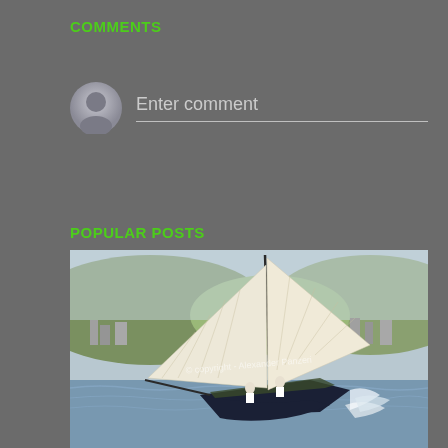COMMENTS
Enter comment
POPULAR POSTS
[Figure (photo): A classic sailing yacht with large cream-colored sails heeling in the water near a coastline with hills in the background. Watermark reads '© copyright - Alexander Panzeri']